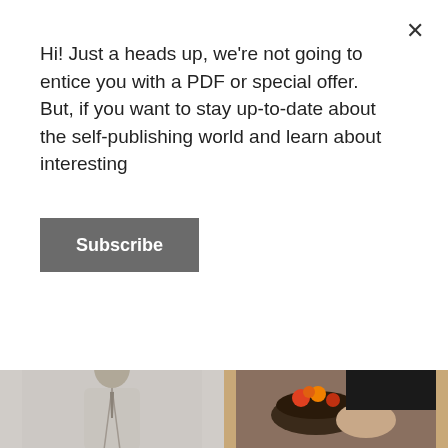Hi! Just a heads up, we're not going to entice you with a PDF or special offer. But, if you want to stay up-to-date about the self-publishing world and learn about interesting
Subscribe
[Figure (photo): Two side-by-side images: left shows a man in a white shirt (illustrated/sketch style), right shows a person holding a bowl of fruit/food]
Copyright 2020 TSPA The Self Publishing Agency Inc. | All Rights Reserved | Privacy Policy | The agency for professional self publishing.